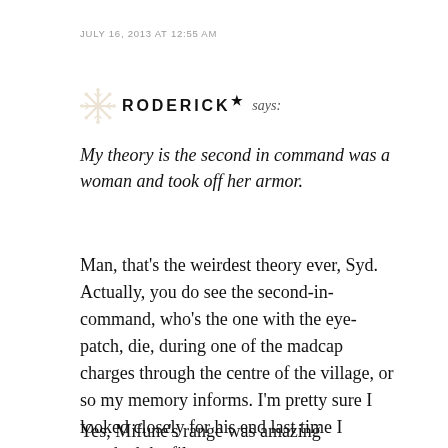JULY 16, 2013 AT 12:55 AM
RODERICK★ says:
My theory is the second in command was a woman and took off her armor.
Man, that's the weirdest theory ever, Syd. Actually, you do see the second-in-command, who's the one with the eye-patch, die, during one of the madcap charges through the centre of the village, or so my memory informs. I'm pretty sure I looked closely for his end last time I watched the film.
Yes, Mifune's range was amazing